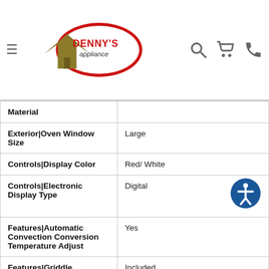Denny's Appliance
| Attribute | Value |
| --- | --- |
| Material |  |
| Exterior|Oven Window Size | Large |
| Controls|Display Color | Red/ White |
| Controls|Electronic Display Type | Digital |
| Features|Automatic Convection Conversion Temperature Adjust | Yes |
| Features|Griddle | Included |
| Features|Heating Element On Indicator Light | No |
| Features|Hot Surf... | No |